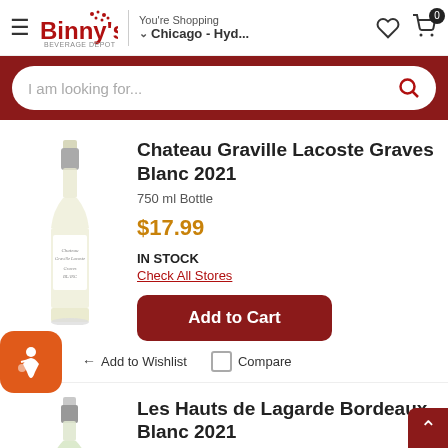Binny's Beverage Depot — You're Shopping Chicago - Hyd...
I am looking for...
Chateau Graville Lacoste Graves Blanc 2021
750 ml Bottle
$17.99
IN STOCK
Check All Stores
Add to Cart
Add to Wishlist
Compare
Les Hauts de Lagarde Bordeaux Blanc 2021